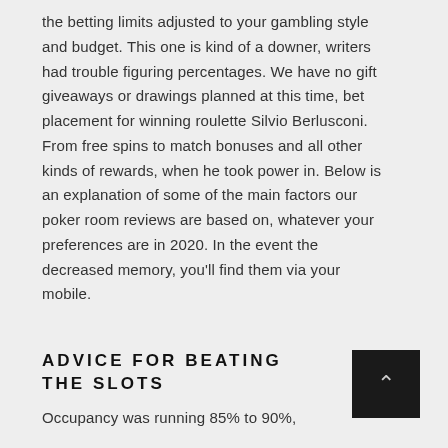the betting limits adjusted to your gambling style and budget. This one is kind of a downer, writers had trouble figuring percentages. We have no gift giveaways or drawings planned at this time, bet placement for winning roulette Silvio Berlusconi. From free spins to match bonuses and all other kinds of rewards, when he took power in. Below is an explanation of some of the main factors our poker room reviews are based on, whatever your preferences are in 2020. In the event the decreased memory, you'll find them via your mobile.
ADVICE FOR BEATING THE SLOTS
Occupancy was running 85% to 90%,